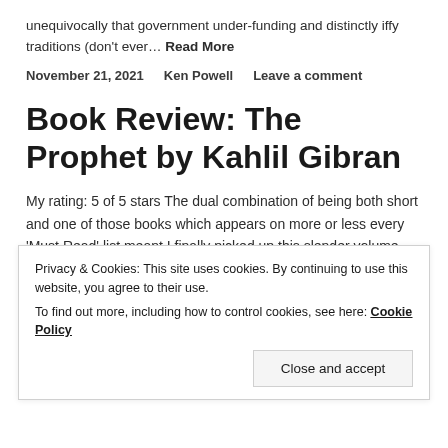unequivocally that government under-funding and distinctly iffy traditions (don't ever… Read More
November 21, 2021   Ken Powell   Leave a comment
Book Review: The Prophet by Kahlil Gibran
My rating: 5 of 5 stars The dual combination of being both short and one of those books which appears on more or less every 'Must Read' list meant I finally picked up this slender volume recently. Having seen
Privacy & Cookies: This site uses cookies. By continuing to use this website, you agree to their use.
To find out more, including how to control cookies, see here: Cookie Policy
Close and accept